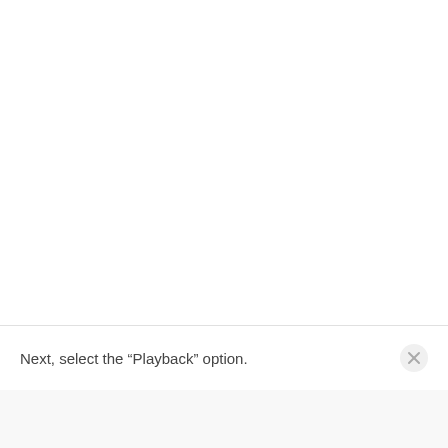Next, select the “Playback” option.